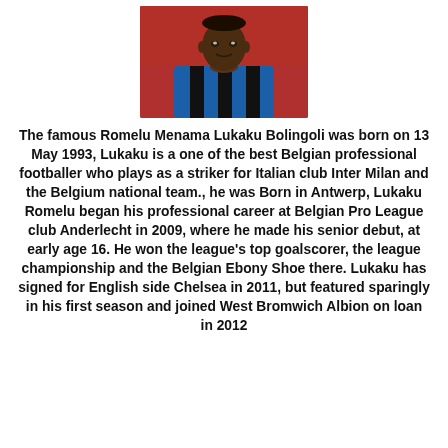[Figure (photo): Photo of Romelu Lukaku in a blue and black Inter Milan jersey, looking at camera with stadium seating visible in background]
The famous Romelu Menama Lukaku Bolingoli was born on 13 May 1993, Lukaku is a one of the best Belgian professional footballer who plays as a striker for Italian club Inter Milan and the Belgium national team., he was Born in Antwerp, Lukaku Romelu began his professional career at Belgian Pro League club Anderlecht in 2009, where he made his senior debut, at early age 16. He won the league's top goalscorer, the league championship and the Belgian Ebony Shoe there. Lukaku has signed for English side Chelsea in 2011, but featured sparingly in his first season and joined West Bromwich Albion on loan in 2012